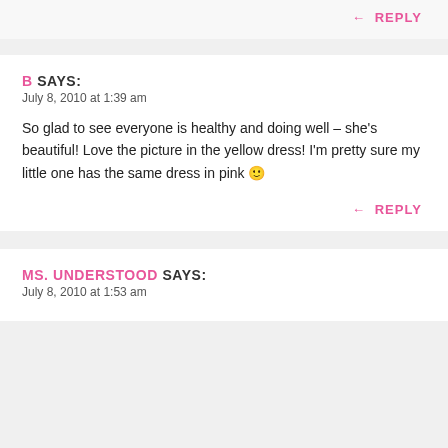REPLY
B SAYS:
July 8, 2010 at 1:39 am
So glad to see everyone is healthy and doing well – she's beautiful! Love the picture in the yellow dress! I'm pretty sure my little one has the same dress in pink 🙂
REPLY
MS. UNDERSTOOD SAYS:
July 8, 2010 at 1:53 am